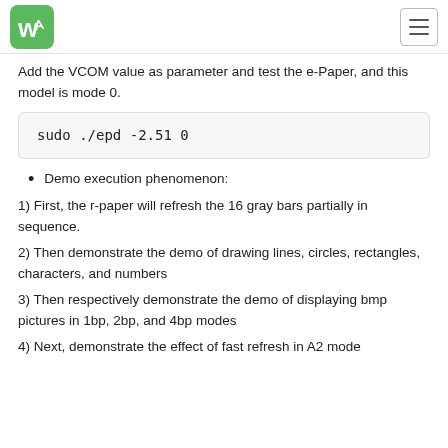Waveshare logo and navigation menu
Add the VCOM value as parameter and test the e-Paper, and this model is mode 0.
sudo ./epd -2.51 0
Demo execution phenomenon:
1) First, the r-paper will refresh the 16 gray bars partially in sequence.
2) Then demonstrate the demo of drawing lines, circles, rectangles, characters, and numbers
3) Then respectively demonstrate the demo of displaying bmp pictures in 1bp, 2bp, and 4bp modes
4) Next, demonstrate the effect of fast refresh in A2 mode